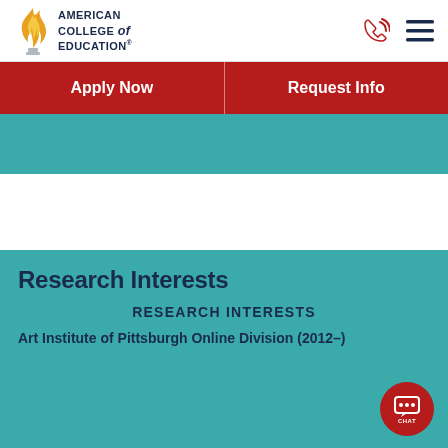[Figure (logo): American College of Education logo with flame icon and text]
[Figure (other): Phone icon and hamburger menu icon in header]
Apply Now
Request Info
Research Interests
RESEARCH INTERESTS
Art Institute of Pittsburgh Online Division (2012–)